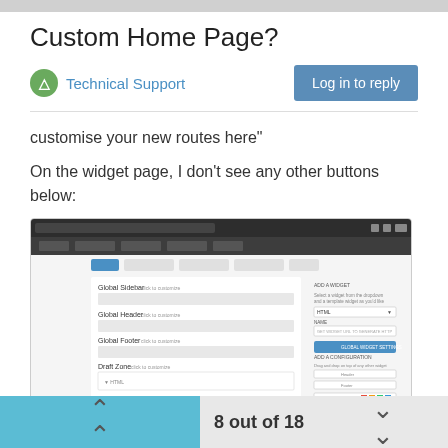Custom Home Page?
Technical Support
customise your new routes here"
On the widget page, I don't see any other buttons below:
[Figure (screenshot): Screenshot of a widget configuration page showing Global Sidebar, Global Header, Global Footer, and Draft Zone sections with a panel on the right side showing widget settings including a blue action button and color picker.]
8 out of 18